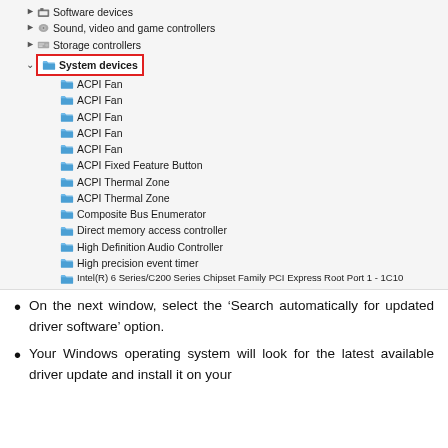[Figure (screenshot): Windows Device Manager tree showing System devices expanded, with 'System devices' and 'Intel(R) Management Engine Interface' highlighted in red boxes. Items listed include ACPI Fan (x5), ACPI Fixed Feature Button, ACPI Thermal Zone (x2), Composite Bus Enumerator, Direct memory access controller, High Definition Audio Controller, High precision event timer, Intel(R) 6 Series/C200 Series chipset entries, Intel(R) H61 Express Chipset Family LPC Interface Controller, Intel(R) Management Engine Interface, IWD Bus Enumerator. Also shows Software devices, Sound video and game controllers, Storage controllers collapsed.]
On the next window, select the ‘Search automatically for updated driver software’ option.
Your Windows operating system will look for the latest available driver update and install it on your